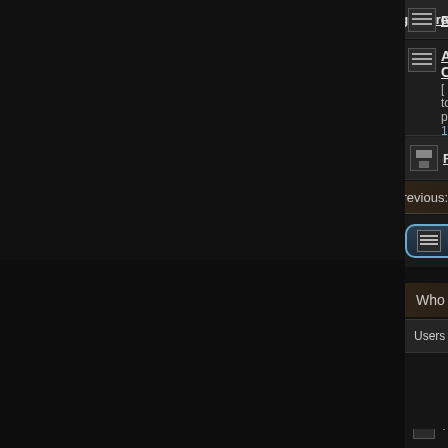Rate the Signature
A, B, C [ Go to page: 1, 2 ] 24 Replies
Raad de volgende poster
Display topics from previous:
new topic  Page 1 of 1  [ 25 topics ]
Who is online
Users browsing this forum: No registered users and 1 gu
New posts
No new posts
New posts [ Popular ]
No new posts [ Popular
New posts [ Locked ]
No new posts [ Locked
Search for:
The team - Delete all
Powered by phpBB
RSS feeds | Favorieten | Sitemap |